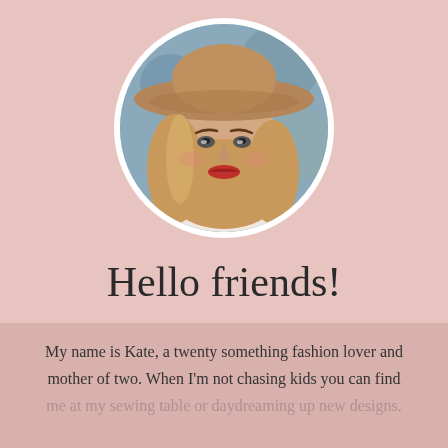[Figure (photo): Circular portrait photo of a young woman with long blonde wavy hair, wearing a wide-brimmed brown hat and red lipstick, with a blurred outdoor background. Photo is framed in a white circular border.]
Hello friends!
My name is Kate, a twenty something fashion lover and mother of two. When I'm not chasing kids you can find me at my sewing table or daydreaming up new designs.